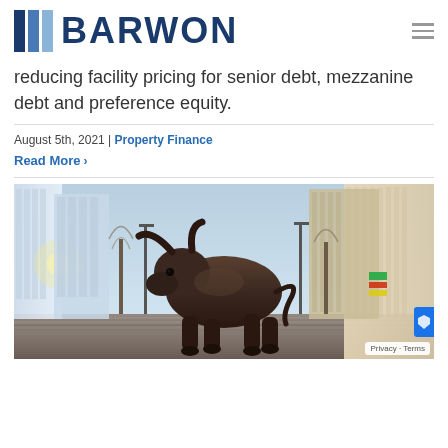BARWON
reducing facility pricing for senior debt, mezzanine debt and preference equity.
August 5th, 2021 | Property Finance
Read More >
[Figure (photo): Photo of the Charging Bull statue on Wall Street in New York City, with skyscrapers in the background]